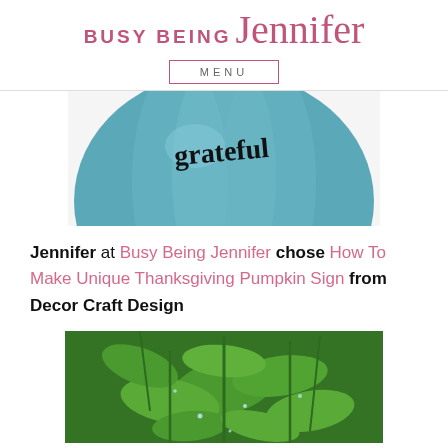BUSY BEING Jennifer
MENU
[Figure (photo): A teal/blue painted pumpkin with cursive text reading 'grateful' on a white background]
Jennifer at Busy Being Jennifer chose How To Make Unique Thanksgiving Pumpkin Sign from Decor Craft Design
[Figure (photo): A close-up photo of green leafy plants with water droplets]